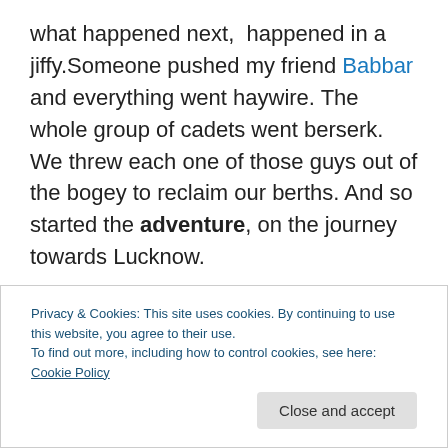what happened next,  happened in a jiffy.Someone pushed my friend Babbar and everything went haywire. The whole group of cadets went berserk. We threw each one of those guys out of the bogey to reclaim our berths. And so started the adventure, on the journey towards Lucknow.

Early morning, the train stopped at a place called Bareilly.It was a bit cold and the tea vendors came serving tea in earthen pots. Mahipal is another friend of mine who is very naughty and pulls pranks every now and then. Well, he was sitting on the berth next to the door.He was ordering
Privacy & Cookies: This site uses cookies. By continuing to use this website, you agree to their use.
To find out more, including how to control cookies, see here: Cookie Policy